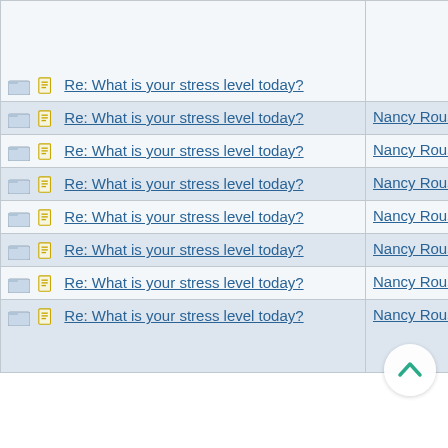| Discussion Topic | Author | Date |
| --- | --- | --- |
| Re: What is your stress level today? | (partial/clipped) |  |
| Re: What is your stress level today? | Nancy Roussy | 10/04/15 02:28 AM |
| Re: What is your stress level today? | Nancy Roussy | 10/04/15 07:02 PM |
| Re: What is your stress level today? | Nancy Roussy | 10/05/15 05:35 PM |
| Re: What is your stress level today? | Nancy Roussy | 10/06/15 12:33 PM |
| Re: What is your stress level today? | Nancy Roussy | 10/07/15 07:32 AM |
| Re: What is your stress level today? | Nancy Roussy | 10/07/15 08:40 AM |
| Re: What is your stress level today? | Nancy Roussy | 10/08/15 12:48 PM |